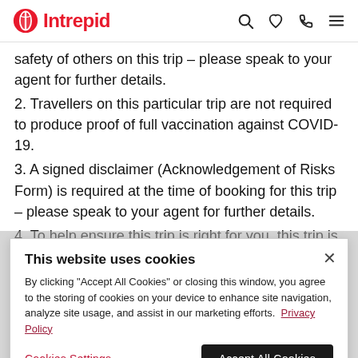Intrepid
safety of others on this trip – please speak to your agent for further details.
2. Travellers on this particular trip are not required to produce proof of full vaccination against COVID-19.
3. A signed disclaimer (Acknowledgement of Risks Form) is required at the time of booking for this trip – please speak to your agent for further details.
4. To help ensure this trip is right for you, this trip is subject to additional 'Essential Eligibility
This website uses cookies
By clicking "Accept All Cookies" or closing this window, you agree to the storing of cookies on your device to enhance site navigation, analyze site usage, and assist in our marketing efforts. Privacy Policy
Cookies Settings | Accept All Cookies